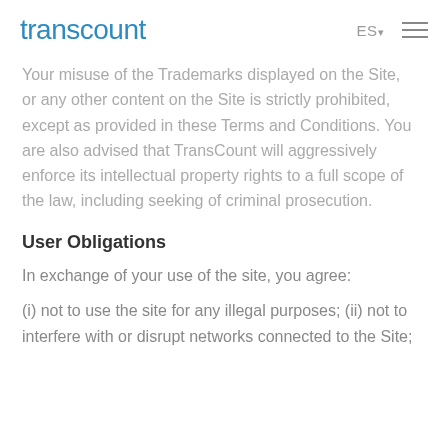transcount   ES   ≡
Your misuse of the Trademarks displayed on the Site, or any other content on the Site is strictly prohibited, except as provided in these Terms and Conditions. You are also advised that TransCount will aggressively enforce its intellectual property rights to a full scope of the law, including seeking of criminal prosecution.
User Obligations
In exchange of your use of the site, you agree:
(i) not to use the site for any illegal purposes; (ii) not to interfere with or disrupt networks connected to the Site;